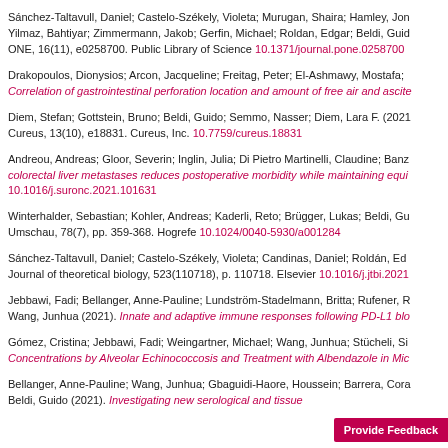Sánchez-Taltavull, Daniel; Castelo-Székely, Violeta; Murugan, Shaira; Hamley, Jon; Yilmaz, Bahtiyar; Zimmermann, Jakob; Gerfin, Michael; Roldan, Edgar; Beldi, Guido; ONE, 16(11), e0258700. Public Library of Science 10.1371/journal.pone.0258700
Drakopoulos, Dionysios; Arcon, Jacqueline; Freitag, Peter; El-Ashmawy, Mostafa; Correlation of gastrointestinal perforation location and amount of free air and ascite
Diem, Stefan; Gottstein, Bruno; Beldi, Guido; Semmo, Nasser; Diem, Lara F. (2021). Cureus, 13(10), e18831. Cureus, Inc. 10.7759/cureus.18831
Andreou, Andreas; Gloor, Severin; Inglin, Julia; Di Pietro Martinelli, Claudine; Banz; colorectal liver metastases reduces postoperative morbidity while maintaining equi 10.1016/j.suronc.2021.101631
Winterhalder, Sebastian; Kohler, Andreas; Kaderli, Reto; Brügger, Lukas; Beldi, Gu; Umschau, 78(7), pp. 359-368. Hogrefe 10.1024/0040-5930/a001284
Sánchez-Taltavull, Daniel; Castelo-Székely, Violeta; Candinas, Daniel; Roldán, Ed; Journal of theoretical biology, 523(110718), p. 110718. Elsevier 10.1016/j.jtbi.2021
Jebbawi, Fadi; Bellanger, Anne-Pauline; Lundström-Stadelmann, Britta; Rufener, R; Wang, Junhua (2021). Innate and adaptive immune responses following PD-L1 blo
Gómez, Cristina; Jebbawi, Fadi; Weingartner, Michael; Wang, Junhua; Stücheli, Si; Concentrations by Alveolar Echinococcosis and Treatment with Albendazole in Mic
Bellanger, Anne-Pauline; Wang, Junhua; Gbaguidi-Haore, Houssein; Barrera, Cora; Beldi, Guido (2021). Investigating new serological and tissue